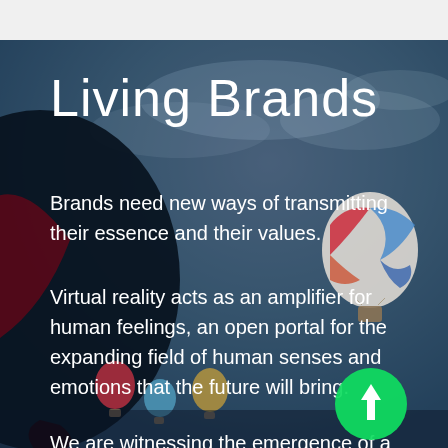[Figure (photo): Background photo of hot air balloons drifting in a cloudy sky, with a dark blue/black large balloon in the foreground-left, and colorful smaller balloons in the distance on the right side. Dark overlay tints the image.]
Living Brands
Brands need new ways of transmitting their essence and their values.
Virtual reality acts as an amplifier for human feelings, an open portal for the expanding field of human senses and emotions that the future will bring.
We are witnessing the emergence of a